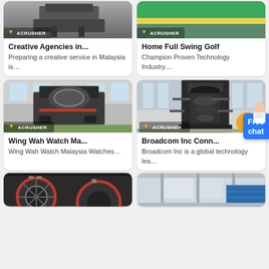[Figure (photo): Industrial crusher machine with Acrusher logo badge, top-left card image]
Creative Agencies in...
Preparing a creative service in Malaysia is…
[Figure (photo): Green and yellow striped industrial equipment with Acrusher logo badge, top-right card image]
Home Full Swing Golf
Champion Proven Technology Industry…
[Figure (photo): Large industrial vertical shaft crusher machine in factory with Acrusher logo, middle-left card]
Wing Wah Watch Ma...
Wing Wah Watch Malaysia Watches…
[Figure (photo): Tall industrial tower crusher machine with Acrusher logo and hammer icon badge, middle-right card. Free chat button visible.]
Broadcom Inc Conn...
Broadcom Inc is a global technology lea…
[Figure (photo): Close-up of industrial crusher wheels/drums with red elements, bottom-left partial card]
[Figure (photo): Industrial warehouse interior with blue shelving/barrels, bottom-right partial card]